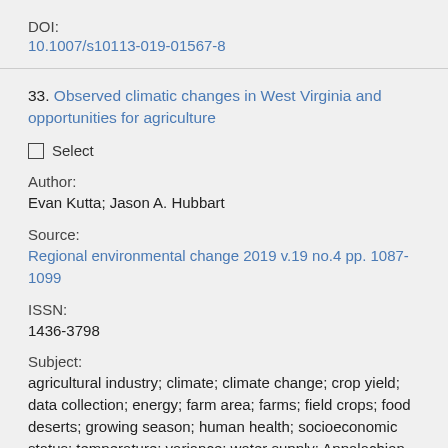DOI:
10.1007/s10113-019-01567-8
33. Observed climatic changes in West Virginia and opportunities for agriculture
☐ Select
Author:
Evan Kutta; Jason A. Hubbart
Source:
Regional environmental change 2019 v.19 no.4 pp. 1087-1099
ISSN:
1436-3798
Subject:
agricultural industry; climate; climate change; crop yield; data collection; energy; farm area; farms; field crops; food deserts; growing season; human health; socioeconomic status; temperature; variance; water supply; Appalachian